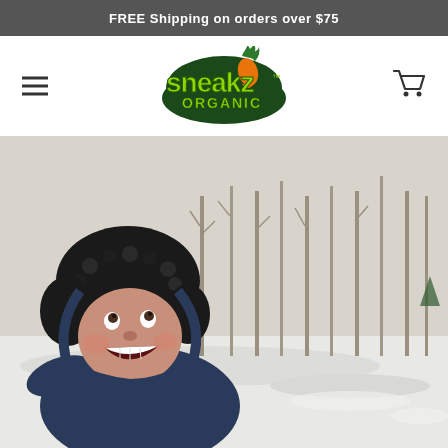FREE Shipping on orders over $75
[Figure (logo): Sneakz Organic logo with green bubbly text and carrot graphic]
[Figure (photo): Smiling toddler in winter gear (dark furry hat and navy snowsuit) outdoors in a snowy forest setting, looking upward and laughing]